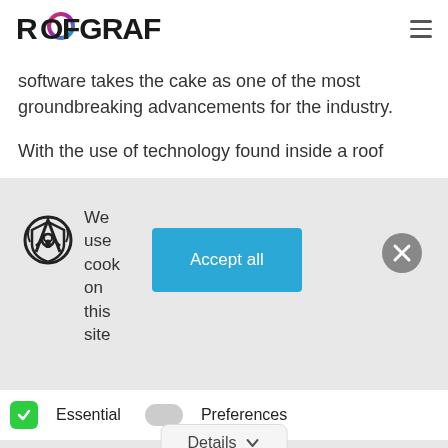ROOFGRAF
software takes the cake as one of the most groundbreaking advancements for the industry.
With the use of technology found inside a roof
[Figure (other): Cookie consent banner with lock/shield icon, 'We use cookies on this site' text, an 'Accept all' blue button, and a gray close (X) button. Below are Essential (green toggle) and Preferences (gray toggle) options, plus a Details dropdown button.]